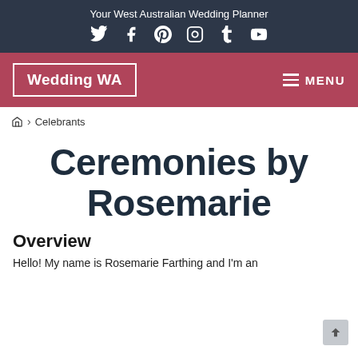Your West Australian Wedding Planner
[Figure (logo): Social media icons row: Twitter, Facebook, Pinterest, Instagram, Tumblr, YouTube]
[Figure (logo): Wedding WA logo in white text on pink/red background with white border rectangle, and MENU hamburger button on right]
🏠 > Celebrants
Ceremonies by Rosemarie
Overview
Hello! My name is Rosemarie Farthing and I'm an